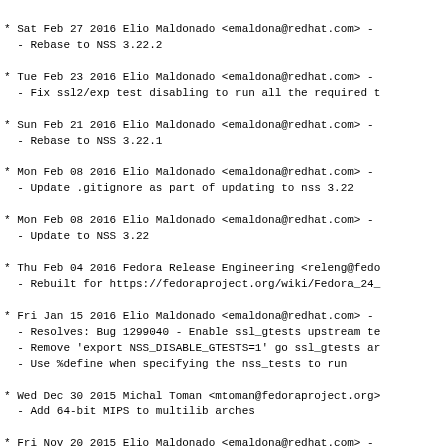* Sat Feb 27 2016 Elio Maldonado <emaldona@redhat.com> -
  - Rebase to NSS 3.22.2
* Tue Feb 23 2016 Elio Maldonado <emaldona@redhat.com> -
  - Fix ssl2/exp test disabling to run all the required t
* Sun Feb 21 2016 Elio Maldonado <emaldona@redhat.com> -
  - Rebase to NSS 3.22.1
* Mon Feb 08 2016 Elio Maldonado <emaldona@redhat.com> -
  - Update .gitignore as part of updating to nss 3.22
* Mon Feb 08 2016 Elio Maldonado <emaldona@redhat.com> -
  - Update to NSS 3.22
* Thu Feb 04 2016 Fedora Release Engineering <releng@fedo
  - Rebuilt for https://fedoraproject.org/wiki/Fedora_24_
* Fri Jan 15 2016 Elio Maldonado <emaldona@redhat.com> -
  - Resolves: Bug 1299040 - Enable ssl_gtests upstream te
  - Remove 'export NSS_DISABLE_GTESTS=1' go ssl_gtests ar
  - Use %define when specifying the nss_tests to run
* Wed Dec 30 2015 Michal Toman <mtoman@fedoraproject.org>
  - Add 64-bit MIPS to multilib arches
* Fri Nov 20 2015 Elio Maldonado <emaldona@redhat.com> -
  - Update %{nss_util_version} and %{nss_softokn_version}
  - Resolves: Bug 1284095 - all https fails with sec_erro
* Sun Nov 15 2015 Elio Maldonado <emaldona@redhat.com> -
  - Add references to bugs filed upstream
* Fri Nov 13 2015 Elio Maldonado Batiz <emaldona@redhat.c
  - Update to NSS 3.21
  - Package listsuites as part of the unsupported tools s
  - Resolves: Bug 1279912 - nss-3.21 is available
  - Resolves: Bug 1258425 - Use __isa_bits macro instead
  - Resolves: Bug 1280032 - Package listsuites as part of
* Fri Oct 30 2015 Elio Maldonado <emaldona@redhat.com>